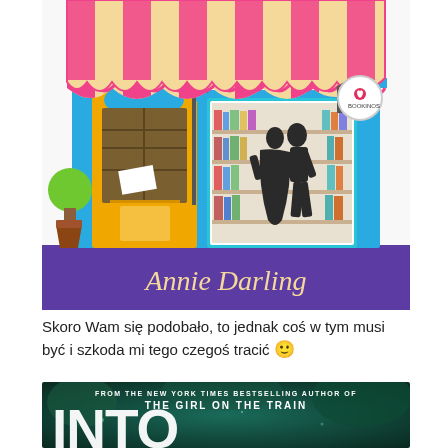[Figure (illustration): Cartoon bookshop illustration with striped pink and yellow awning, blue facade, dancing couple silhouette in window, green topiary, and 'Bookinos' sign. Text 'Annie Darling' on purple banner at bottom.]
Skoro Wam się podobało, to jednak coś w tym musi być i szkoda mi tego czegoś tracić 🙂
[Figure (photo): Book cover: 'FROM THE NEW YORK TIMES BESTSELLING AUTHOR OF THE GIRL ON THE TRAIN' with partial title text 'INTO' visible, dark teal/green moody background.]